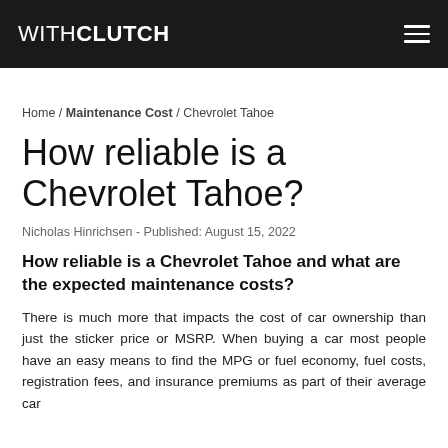WITHCLUTCH
Home / Maintenance Cost / Chevrolet Tahoe
How reliable is a Chevrolet Tahoe?
Nicholas Hinrichsen - Published: August 15, 2022
How reliable is a Chevrolet Tahoe and what are the expected maintenance costs?
There is much more that impacts the cost of car ownership than just the sticker price or MSRP. When buying a car most people have an easy means to find the MPG or fuel economy, fuel costs, registration fees, and insurance premiums as part of their average car